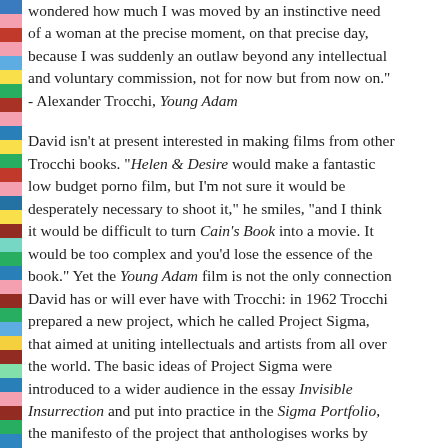wondered how much I was moved by an instinctive need of a woman at the precise moment, on that precise day, because I was suddenly an outlaw beyond any intellectual and voluntary commission, not for now but from now on." - Alexander Trocchi, Young Adam

David isn't at present interested in making films from other Trocchi books. "Helen & Desire would make a fantastic low budget porno film, but I'm not sure it would be desperately necessary to shoot it," he smiles, "and I think it would be difficult to turn Cain's Book into a movie. It would be too complex and you'd lose the essence of the book." Yet the Young Adam film is not the only connection David has or will ever have with Trocchi: in 1962 Trocchi prepared a new project, which he called Project Sigma, that aimed at uniting intellectuals and artists from all over the world. The basic ideas of Project Sigma were introduced to a wider audience in the essay Invisible Insurrection and put into practice in the Sigma Portfolio, the manifesto of the project that anthologises works by poets such as Michael McClure and Robert Creeley and psychiatrist R.D. Laing. In the following years Trocchi tri...